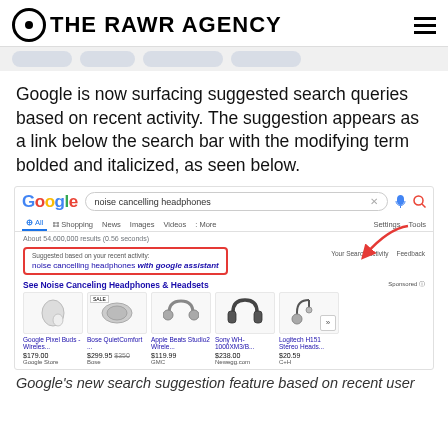THE RAWR AGENCY
Google is now surfacing suggested search queries based on recent activity. The suggestion appears as a link below the search bar with the modifying term bolded and italicized, as seen below.
[Figure (screenshot): Screenshot of Google search results for 'noise cancelling headphones' showing a suggestion box with red border and arrow pointing to it. The suggestion box reads 'Suggested based on your recent activity: noise cancelling headphones with google assistant'. Below are product listings for Google Pixel Buds, Bose QuietComfort, Apple Beats Studio2, Sony WH-1000XM3/B, and Logitech H151.]
Google's new search suggestion feature based on recent user